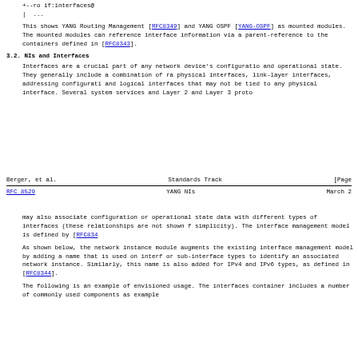+--ro if:interfaces@
|  ...
This shows YANG Routing Management [RFC8349] and YANG OSPF [YANG-OSPF] as mounted modules.  The mounted modules can reference interface information via a parent-reference to the containers defined in [RFC8343].
3.2.  NIs and Interfaces
Interfaces are a crucial part of any network device's configuration and operational state.  They generally include a combination of ra physical interfaces, link-layer interfaces, addressing configurati and logical interfaces that may not be tied to any physical interface.  Several system services and Layer 2 and Layer 3 proto
Berger, et al.                  Standards Track                    [Page
RFC 8529                         YANG NIs                         March 2
may also associate configuration or operational state data with different types of interfaces (these relationships are not shown f simplicity).  The interface management model is defined by [RFC834
As shown below, the network instance module augments the existing interface management model by adding a name that is used on interf or sub-interface types to identify an associated network instance. Similarly, this name is also added for IPv4 and IPv6 types, as defined in [RFC8344].
The following is an example of envisioned usage.  The interfaces container includes a number of commonly used components as example